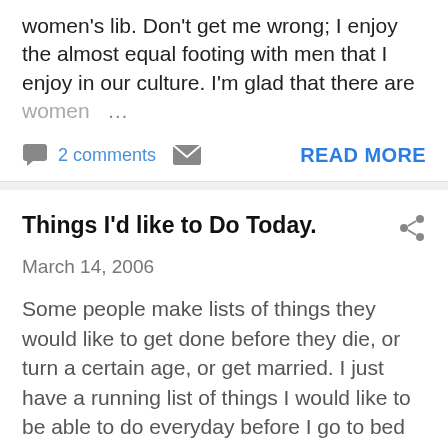women's lib. Don't get me wrong; I enjoy the almost equal footing with men that I enjoy in our culture. I'm glad that there are women …
2 comments   READ MORE
Things I'd like to Do Today.
March 14, 2006
Some people make lists of things they would like to get done before they die, or turn a certain age, or get married. I just have a running list of things I would like to be able to do everyday before I go to bed at night. 1.) …